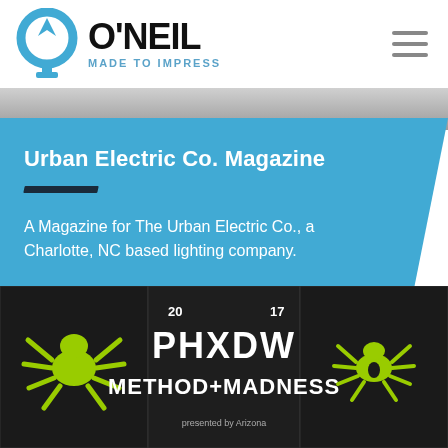[Figure (logo): O'Neil logo with circular icon and text 'O'NEIL MADE TO IMPRESS']
[Figure (photo): Gray architectural photo strip at top of content area]
Urban Electric Co. Magazine
A Magazine for The Urban Electric Co., a Charlotte, NC based lighting company.
GO TO PROJECT
[Figure (photo): Dark background image with green spider graphics and text 'PHXDW METHOD+MADNESS 20 17 presented by Arizona']